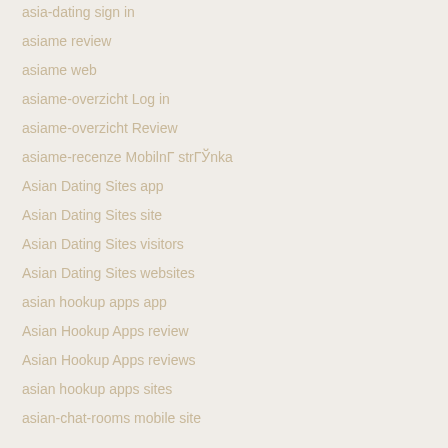asia-dating sign in
asiame review
asiame web
asiame-overzicht Log in
asiame-overzicht Review
asiame-recenze Mobilní strÃ¡nka
Asian Dating Sites app
Asian Dating Sites site
Asian Dating Sites visitors
Asian Dating Sites websites
asian hookup apps app
Asian Hookup Apps review
Asian Hookup Apps reviews
asian hookup apps sites
asian-chat-rooms mobile site